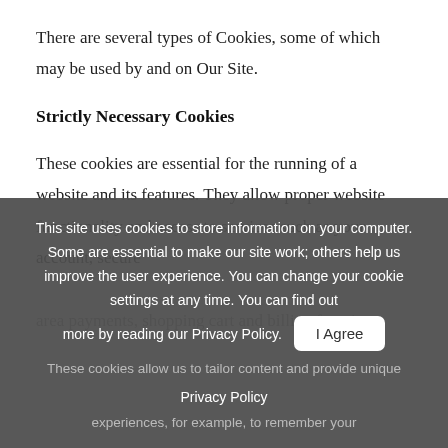There are several types of Cookies, some of which may be used by and on Our Site.
Strictly Necessary Cookies
These cookies are essential for the running of a website and its features. They allow proper website functionality and access to services such as your account, secure
[Figure (other): Cookie consent banner overlay with dark grey background containing text: 'This site uses cookies to store information on your computer. Some are essential to make our site work; others help us improve the user experience. You can change your cookie settings at any time. You can find out more by reading our Privacy Policy.' with an 'I Agree' button and a 'Privacy Policy' link below.]